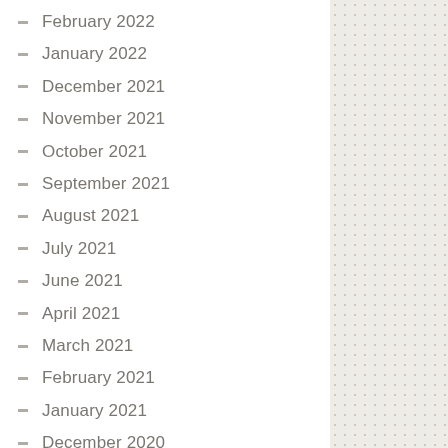February 2022
January 2022
December 2021
November 2021
October 2021
September 2021
August 2021
July 2021
June 2021
April 2021
March 2021
February 2021
January 2021
December 2020
November 2020
October 2020
September 2020